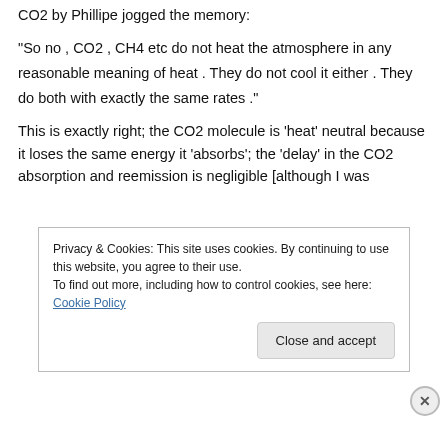CO2 by Phillipe jogged the memory:
“So no , CO2 , CH4 etc do not heat the atmosphere in any reasonable meaning of heat . They do not cool it either . They do both with exactly the same rates .”
This is exactly right; the CO2 molecule is ‘heat’ neutral because it loses the same energy it ‘absorbs’; the ‘delay’ in the CO2 absorption and reemission is negligible [although I was
Privacy & Cookies: This site uses cookies. By continuing to use this website, you agree to their use.
To find out more, including how to control cookies, see here: Cookie Policy
Close and accept